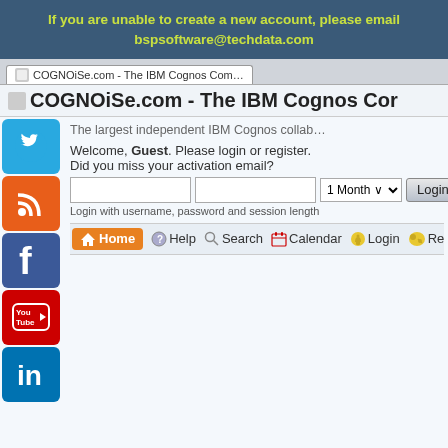If you are unable to create a new account, please email bspsoftware@techdata.com
COGNOiSe.com - The IBM Cognos Com...
The largest independent IBM Cognos collab...
Welcome, Guest. Please login or register. Did you miss your activation email?
Login with username, password and session length
Home  Help  Search  Calendar  Login  Register
COGNOiSe.com - The IBM Cognos Community » ETL, App Development and other tools
Pages: [1] 2 3 4
| Subject / Started by |
| --- |
| Access Manager 7.5 on Windows Server 2012 and Windows Server 2016 |